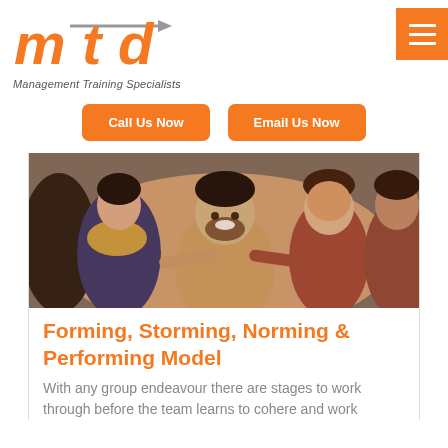[Figure (logo): MTD Management Training Specialists logo — orange stylized letters 'mtd' with a gray arrow]
[Figure (other): Orange hamburger menu button in top-right corner]
Call Us Now
Email Us Now
[Figure (photo): Group of five young smiling people taking a selfie together]
Forming, Storming, Norming & Performing Model
With any group endeavour there are stages to work through before the team learns to cohere and work